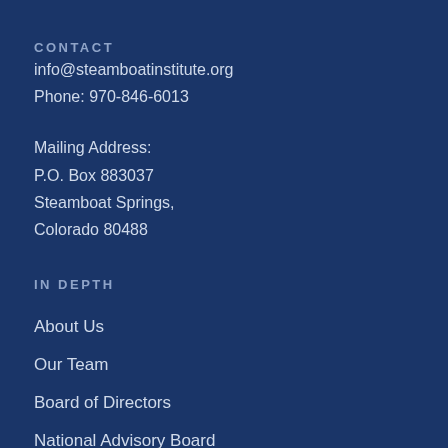CONTACT
info@steamboatinstitute.org
Phone: 970-846-6013
Mailing Address:
P.O. Box 883037
Steamboat Springs,
Colorado 80488
IN DEPTH
About Us
Our Team
Board of Directors
National Advisory Board
Tony Blankley Fellows